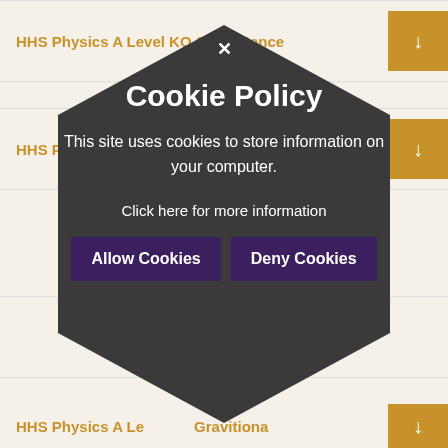HHS Physics A Level KO Capacitance
HHS Physics A Level KO Acceleration
Cookie Policy
This site uses cookies to store information on your computer.
Click here for more information
Allow Cookies
Deny Cookies
HHS Physics A Level KO Induction
HHS Physics A Level KO Gravitational